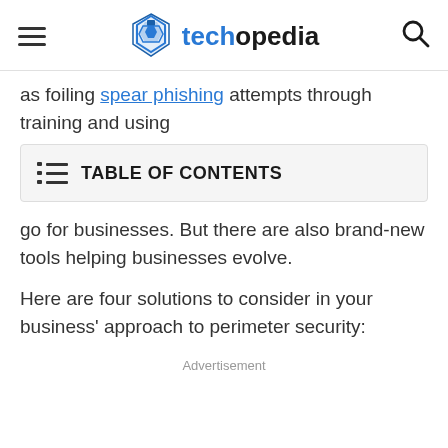techopedia
as foiling spear phishing attempts through training and using
TABLE OF CONTENTS
go for businesses. But there are also brand-new tools helping businesses evolve.
Here are four solutions to consider in your business' approach to perimeter security:
Advertisement